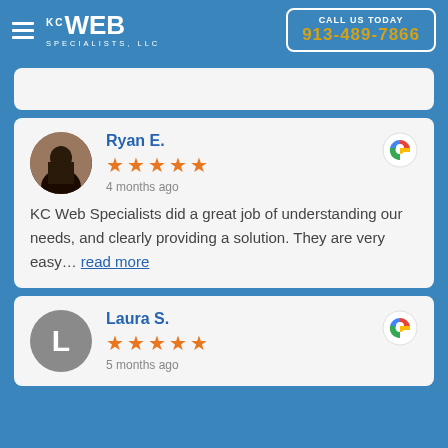KC Web Specialists, LLC — CALL US TODAY 913-489-7866
Ryan E. — 4 months ago — ★★★★★ — KC Web Specialists did a great job of understanding our needs, and clearly providing a solution. They are very easy... read more
Laura S. — 5 months ago — ★★★★★